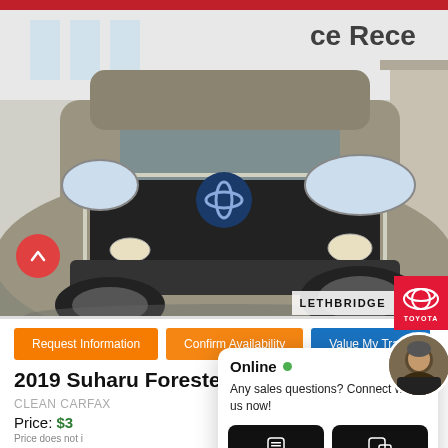[Figure (photo): Front view of a 2019 Subaru Forester SUV in champagne/gray color parked in front of a dealership building. The car's Subaru logo is visible on the grille. Lethbridge Toyota watermark appears in the lower right corner of the photo.]
Request Information
Confirm Availability
Value My Trade
2019 Subaru Forester Convenience
CLEAN CARFAX
Price: $3...
Price does not ...
Mileage
Online
Any sales questions? Connect with us now!
TEXT
CHAT